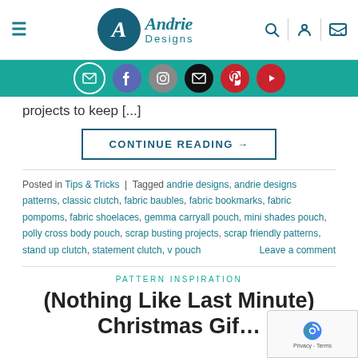[Figure (logo): Andrie Designs logo with teal circle containing stylized A and brand name]
[Figure (infographic): Social media icon bar on teal background: email, Facebook, Instagram, email, Pinterest, YouTube]
projects to keep [...]
CONTINUE READING →
Posted in Tips & Tricks | Tagged andrie designs, andrie designs patterns, classic clutch, fabric baubles, fabric bookmarks, fabric pompoms, fabric shoelaces, gemma carryall pouch, mini shades pouch, polly cross body pouch, scrap busting projects, scrap friendly patterns, stand up clutch, statement clutch, v pouch                    Leave a comment
PATTERN INSPIRATION
(Nothing Like Last Minute) Christmas Gif...